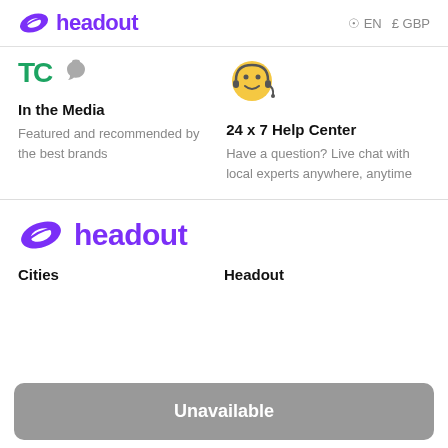headout  EN  £ GBP
[Figure (logo): TechCrunch TC green logo and Apple grey logo icons]
In the Media
Featured and recommended by the best brands
[Figure (illustration): Yellow emoji face with headset for 24x7 help center]
24 x 7 Help Center
Have a question? Live chat with local experts anywhere, anytime
[Figure (logo): Headout purple logo in footer]
Cities
Headout
Unavailable